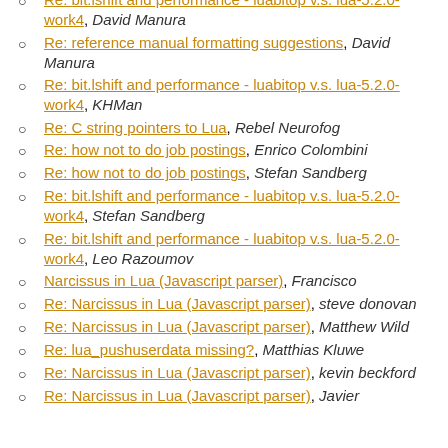Re: bit.lshift and performance - luabitop v.s. lua-5.2.0-work4, David Manura
Re: reference manual formatting suggestions, David Manura
Re: bit.lshift and performance - luabitop v.s. lua-5.2.0-work4, KHMan
Re: C string pointers to Lua, Rebel Neurofog
Re: how not to do job postings, Enrico Colombini
Re: how not to do job postings, Stefan Sandberg
Re: bit.lshift and performance - luabitop v.s. lua-5.2.0-work4, Stefan Sandberg
Re: bit.lshift and performance - luabitop v.s. lua-5.2.0-work4, Leo Razoumov
Narcissus in Lua (Javascript parser), Francisco
Re: Narcissus in Lua (Javascript parser), steve donovan
Re: Narcissus in Lua (Javascript parser), Matthew Wild
Re: lua_pushuserdata missing?, Matthias Kluwe
Re: Narcissus in Lua (Javascript parser), kevin beckford
Re: Narcissus in Lua (Javascript parser), Javier